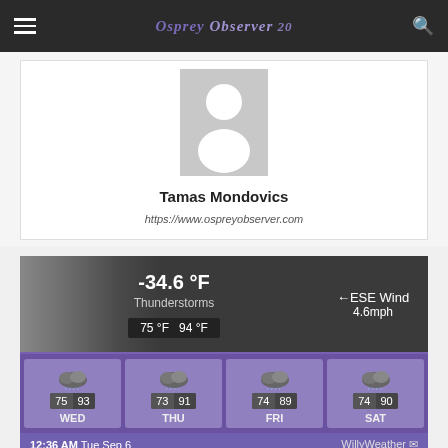Osprey Observer 20
[Figure (illustration): Default user avatar placeholder — grey square with white silhouette person icon]
Tamas Mondovics
https://www.ospreyobserver.com
[Figure (screenshot): Weather widget showing -34.6°F, Thunderstorms, ESE Wind 4.6mph, range 75°F / 94°F. Forecast: WED 75/93, THU 73/91, FRI 74/89, SAT 74/90. Timestamp: 12:36 AM Tue Sep 6, WillyWeather]